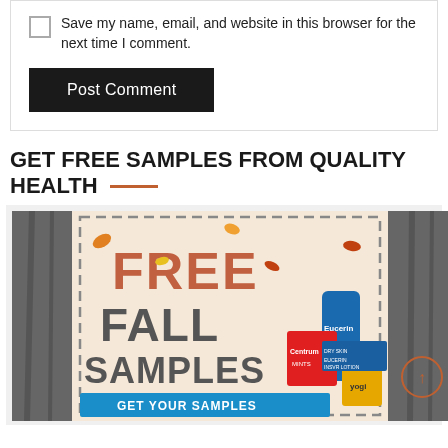Save my name, email, and website in this browser for the next time I comment.
Post Comment
GET FREE SAMPLES FROM QUALITY HEALTH
[Figure (photo): Promotional image with dashed border showing 'FREE FALL SAMPLES' text in orange/gray, product images including Eucerin lotion and Centrum Mints, and a 'GET YOUR SAMPLES' blue button]